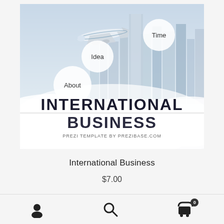[Figure (screenshot): International Business Prezi template product image showing a city skyline with clouds, airplane, and bubble labels reading 'Time', 'Idea', 'About'. Large text reads 'INTERNATIONAL BUSINESS' with subtitle 'PREZI TEMPLATE BY PREZIBASE.COM']
International Business
$7.00